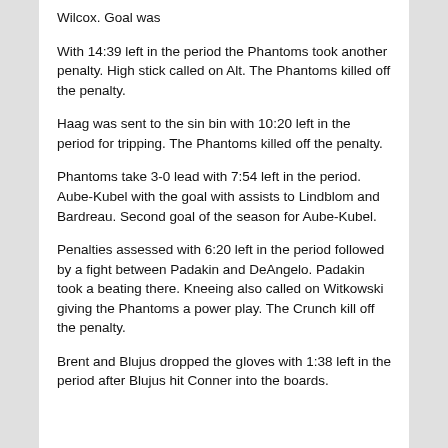Wilcox. Goal was
With 14:39 left in the period the Phantoms took another penalty. High stick called on Alt. The Phantoms killed off the penalty.
Haag was sent to the sin bin with 10:20 left in the period for tripping. The Phantoms killed off the penalty.
Phantoms take 3-0 lead with 7:54 left in the period. Aube-Kubel with the goal with assists to Lindblom and Bardreau. Second goal of the season for Aube-Kubel.
Penalties assessed with 6:20 left in the period followed by a fight between Padakin and DeAngelo. Padakin took a beating there. Kneeing also called on Witkowski giving the Phantoms a power play. The Crunch kill off the penalty.
Brent and Blujus dropped the gloves with 1:38 left in the period after Blujus hit Conner into the boards.